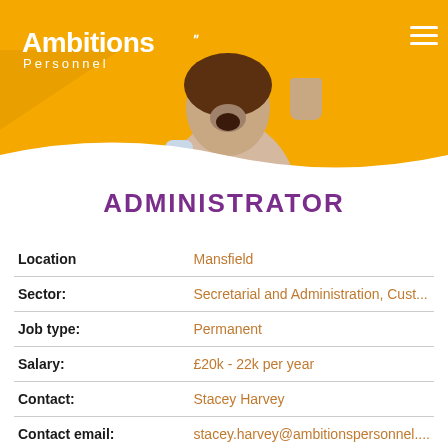[Figure (photo): Ambitions Personnel website header banner with orange/yellow background showing a man celebrating with fist raised, logo top-left reading 'Ambitions Personnel' in white, hamburger menu icon top-right]
ADMINISTRATOR
| Location | Mansfield |
| Sector: | Secretarial and Administration, Cust... |
| Job type: | Permanent |
| Salary: | £20k - 22k per year |
| Contact: | Stacey Harvey |
| Contact email: | stacey.harvey@ambitionspersonnel.... |